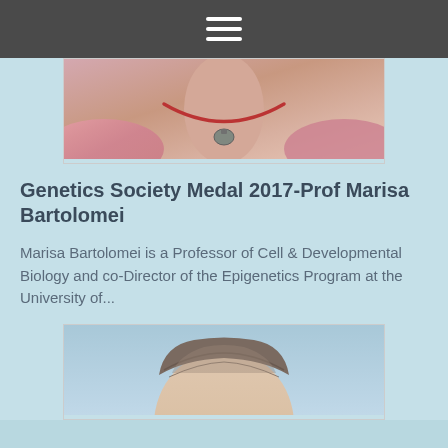[Figure (photo): Navigation bar with hamburger menu icon on dark gray background]
[Figure (photo): Cropped photo showing lower face/neck area of a woman wearing a red necklace with a pendant and floral top]
Genetics Society Medal 2017-Prof Marisa Bartolomei
Marisa Bartolomei is a Professor of Cell & Developmental Biology and co-Director of the Epigenetics Program at the University of...
[Figure (photo): Cropped photo showing the top of a man's head with brown/gray hair against a light blue background]